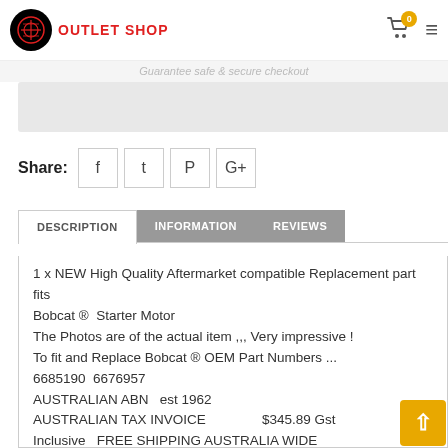OUTLET SHOP
Guarantee safe & secure checkout
Share:
DESCRIPTION | INFORMATION | REVIEWS
1 x NEW High Quality Aftermarket compatible Replacement part fits
Bobcat ® Starter Motor
The Photos are of the actual item ,,, Very impressive !
To fit and Replace Bobcat ® OEM Part Numbers ...
6685190 6676957
AUSTRALIAN ABN est 1962
AUSTRALIAN TAX INVOICE $345.89 Gst Inclusive FREE SHIPPING AUSTRALIA WIDE